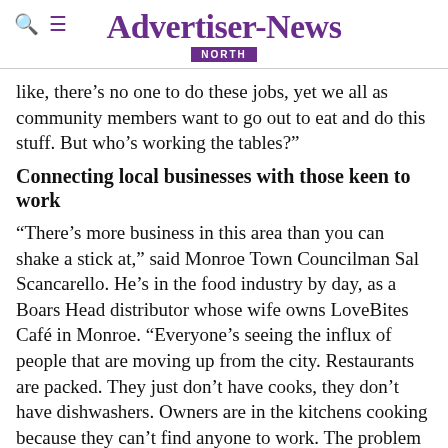Advertiser-News NORTH
like, there’s no one to do these jobs, yet we all as community members want to go out to eat and do this stuff. But who’s working the tables?”
Connecting local businesses with those keen to work
“There’s more business in this area than you can shake a stick at,” said Monroe Town Councilman Sal Scancarello. He’s in the food industry by day, as a Boars Head distributor whose wife owns LoveBites Café in Monroe. “Everyone’s seeing the influx of people that are moving up from the city. Restaurants are packed. They just don’t have cooks, they don’t have dishwashers. Owners are in the kitchens cooking because they can’t find anyone to work. The problem is when it comes down to it, if you need 12 people to run your restaurant on a Saturday night, you’re relying on